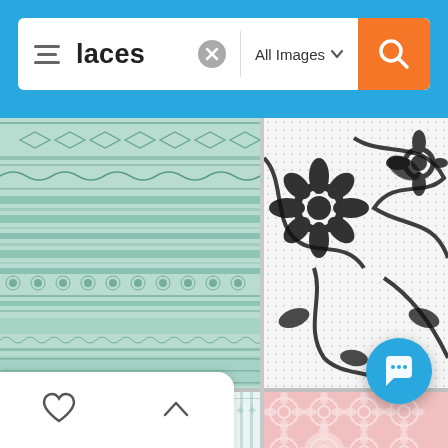[Figure (screenshot): Image search interface showing search bar with 'laces' query and 'All Images' filter dropdown, with orange search button on teal/blue background]
[Figure (photo): Grid of four lace pattern images: top-left teal horizontal stripe lace, top-right black floral lace on white, bottom-left mint vertical stripe lace, bottom-right pink floral lace pattern]
[Figure (screenshot): Bottom toolbar with heart and chevron icons, and floating blue chat bubble button]